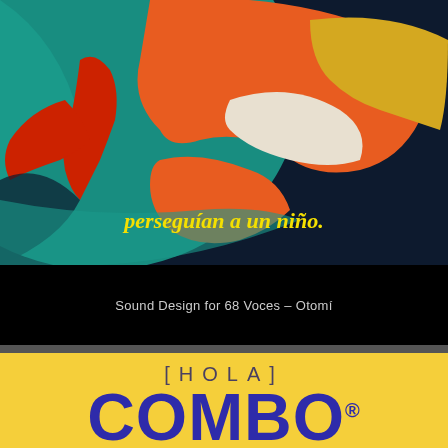[Figure (illustration): Colorful stylized illustration of a globe/world map with bold graphic shapes in orange, teal, yellow, red, and dark navy. A figure in red appears on the left side. Text overlay reads: 'perseguían a un niño.' in yellow italic font.]
perseguían a un niño.
Sound Design for 68 Voces – Otomí
[Figure (logo): Yellow background with '[HOLA]' text in spaced gray letters above large blue bold letters 'COMBO' with registered trademark symbol.]
[HOLA]
COMBO®